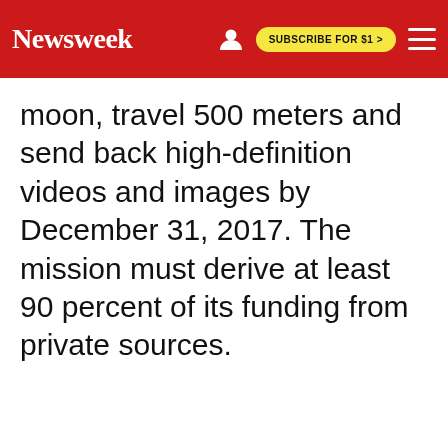Newsweek | SUBSCRIBE FOR $1 >
moon, travel 500 meters and send back high-definition videos and images by December 31, 2017. The mission must derive at least 90 percent of its funding from private sources.